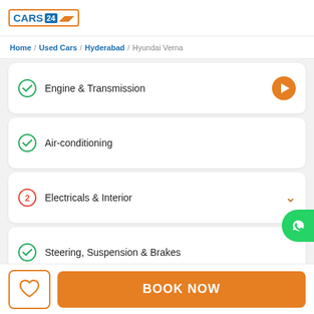CARS24
Home / Used Cars / Hyderabad / Hyundai Verna
Engine & Transmission
Air-conditioning
2 Electricals & Interior
Steering, Suspension & Brakes
BOOK NOW